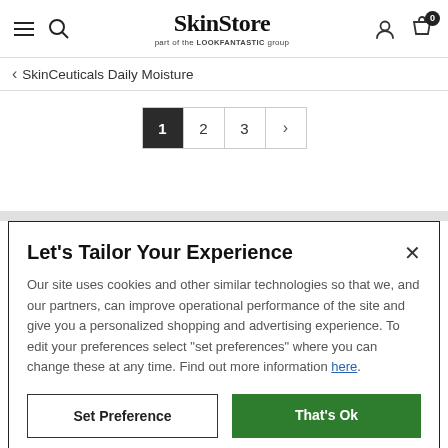SkinStore — part of the LOOKFANTASTIC group
< SkinCeuticals Daily Moisture
[Figure (screenshot): Pagination control showing page 1 (active/dark), page 2, page 3, and a right arrow]
Let's Tailor Your Experience
Our site uses cookies and other similar technologies so that we, and our partners, can improve operational performance of the site and give you a personalized shopping and advertising experience. To edit your preferences select "set preferences" where you can change these at any time. Find out more information here.
Set Preference   That's Ok